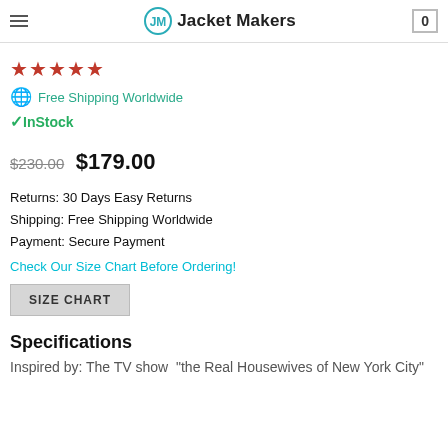Jacket Makers
★★★★★
🌐 Free Shipping Worldwide
✓ InStock
$230.00  $179.00
Returns: 30 Days Easy Returns
Shipping: Free Shipping Worldwide
Payment: Secure Payment
Check Our Size Chart Before Ordering!
SIZE CHART
Specifications
Inspired by: The TV show  "the Real Housewives of New York City"